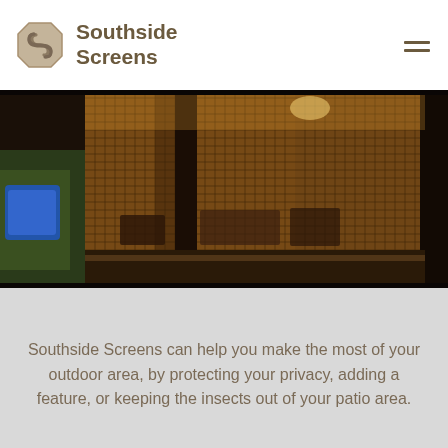Southside Screens
[Figure (photo): Interior view of a screened patio/outdoor area at night, showing a large mesh screen enclosure with dark metal framing, warm amber lighting inside revealing patio furniture, and a glimpse of greenery outside through the screen.]
Southside Screens can help you make the most of your outdoor area, by protecting your privacy, adding a feature, or keeping the insects out of your patio area.